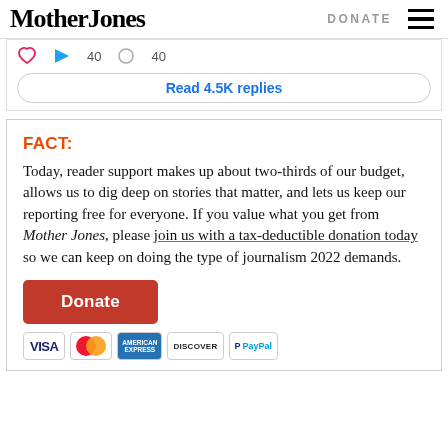Mother Jones | DONATE
[Figure (screenshot): Social media interaction bar showing heart icon, play/retweet icon, and numeric counts]
Read 4.5K replies
FACT:
Today, reader support makes up about two-thirds of our budget, allows us to dig deep on stories that matter, and lets us keep our reporting free for everyone. If you value what you get from Mother Jones, please join us with a tax-deductible donation today so we can keep on doing the type of journalism 2022 demands.
[Figure (other): Orange Donate button]
[Figure (other): Payment method icons: VISA, MasterCard, American Express, Discover, PayPal]